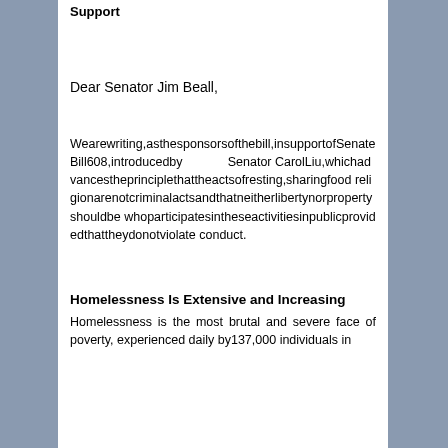Support
Dear Senator Jim Beall,
Wearewriting,asthesponsorsofthebill,insupportofSenateBill608,introducedby Senator CarolLiu,whichadvancestheprinciplethattheactsofresting,sharingfood religionarenotcriminalactsandthatneitherlibertynorpropertyshouldbe whoparticipatesintheseactivitiesinpublicprovidedthattheydonotviolate conduct.
Homelessness Is Extensive and Increasing
Homelessness is the most brutal and severe face of poverty, experienced daily by137,000 individuals in